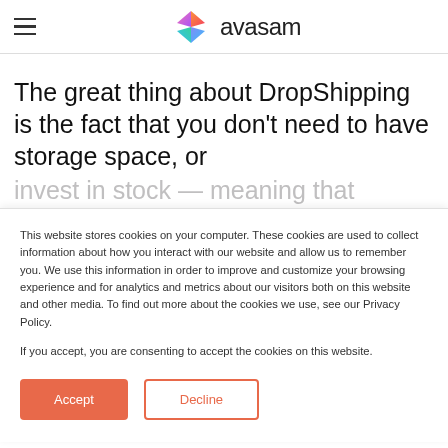[Figure (logo): Avasam logo with colorful diamond/bowtie icon and 'avasam' text]
The great thing about DropShipping is the fact that you don't need to have storage space, or invest in stock — meaning that essentially you
This website stores cookies on your computer. These cookies are used to collect information about how you interact with our website and allow us to remember you. We use this information in order to improve and customize your browsing experience and for analytics and metrics about our visitors both on this website and other media. To find out more about the cookies we use, see our Privacy Policy.

If you accept, you are consenting to accept the cookies on this website.